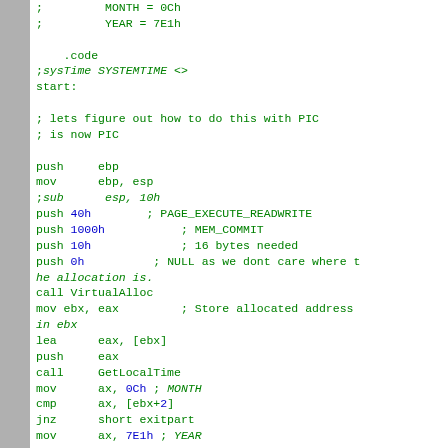Assembly code snippet showing x86 assembly with PIC, VirtualAlloc, GetLocalTime calls. Comments in green, hex values in blue.